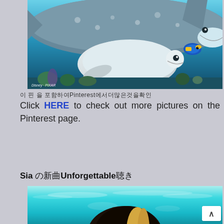[Figure (photo): Finding Dory movie still showing whale shark, beluga whale, and Dory fish underwater scene. Disney Pixar logo in bottom left corner.]
이 핀 을 포함하여Pinterest에서더많은것을확인
Click HERE to check out more pictures on the Pinterest page.
Sia 의새노래Unforgettable듣기
[Figure (photo): Underwater scene with person with long dark and blonde hair visible from behind, submerged in bright turquoise blue water.]